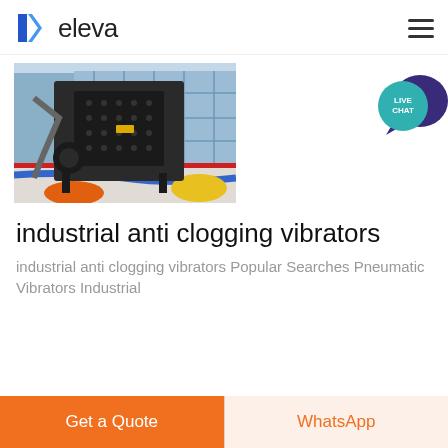eleva
[Figure (photo): Industrial anti clogging vibrator machine — large dark metal crushing/processing machine on a factory floor with blue and red hoses, glass facade building in background]
industrial anti clogging vibrators
industrial anti clogging vibrators Popular Searches Pneumatic Vibrators Industrial